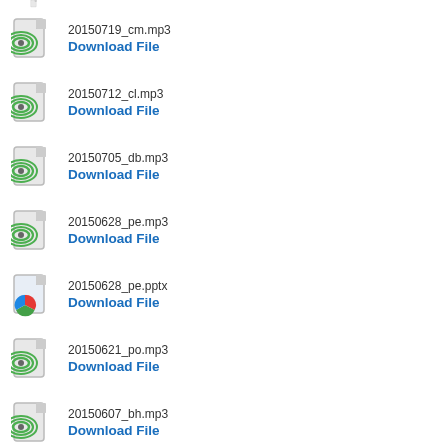20150719_cm.mp3
Download File
20150712_cl.mp3
Download File
20150705_db.mp3
Download File
20150628_pe.mp3
Download File
20150628_pe.pptx
Download File
20150621_po.mp3
Download File
20150607_bh.mp3
Download File